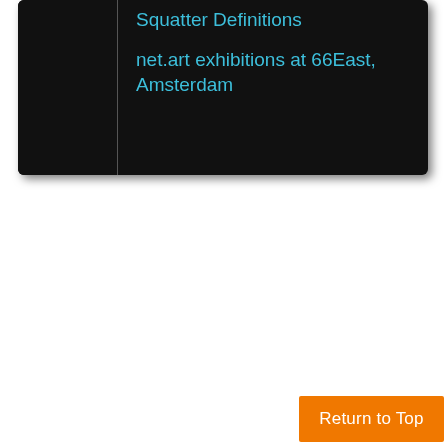Squatter Definitions
net.art exhibitions at 66East, Amsterdam
Return to Top